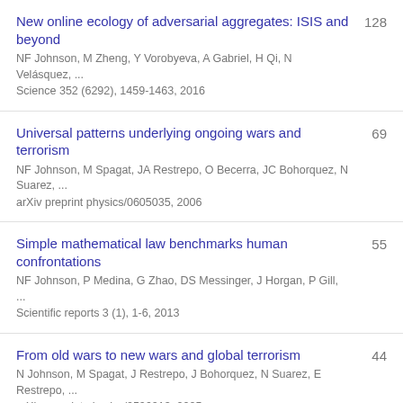New online ecology of adversarial aggregates: ISIS and beyond | NF Johnson, M Zheng, Y Vorobyeva, A Gabriel, H Qi, N Velásquez, ... | Science 352 (6292), 1459-1463, 2016 | 128
Universal patterns underlying ongoing wars and terrorism | NF Johnson, M Spagat, JA Restrepo, O Becerra, JC Bohorquez, N Suarez, ... | arXiv preprint physics/0605035, 2006 | 69
Simple mathematical law benchmarks human confrontations | NF Johnson, P Medina, G Zhao, DS Messinger, J Horgan, P Gill, ... | Scientific reports 3 (1), 1-6, 2013 | 55
From old wars to new wars and global terrorism | N Johnson, M Spagat, J Restrepo, J Bohorquez, N Suarez, E Restrepo, ... | arXiv preprint physics/0506213, 2005 | 44